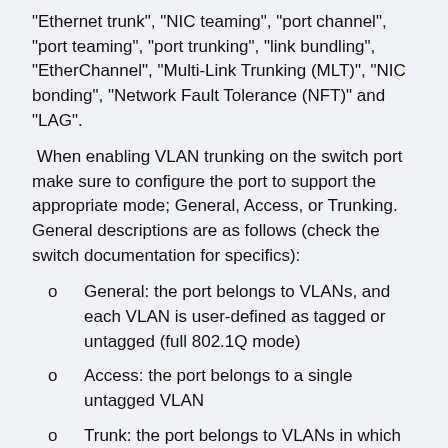"Ethernet trunk", "NIC teaming", "port channel", "port teaming", "port trunking", "link bundling", "EtherChannel", "Multi-Link Trunking (MLT)", "NIC bonding", "Network Fault Tolerance (NFT)" and "LAG".
When enabling VLAN trunking on the switch port make sure to configure the port to support the appropriate mode; General, Access, or Trunking. General descriptions are as follows (check the switch documentation for specifics):
General: the port belongs to VLANs, and each VLAN is user-defined as tagged or untagged (full 802.1Q mode)
Access: the port belongs to a single untagged VLAN
Trunk: the port belongs to VLANs in which all ports are tagged
19.3  Bonding/Teaming